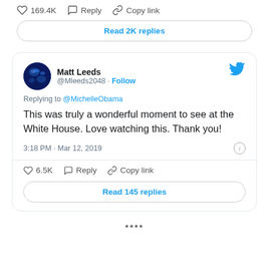❤ 169.4K  Reply  Copy link
Read 2K replies
Matt Leeds @Mleeds2048 · Follow
Replying to @MichelleObama
This was truly a wonderful moment to see at the White House. Love watching this. Thank you!
3:18 PM · Mar 12, 2019
❤ 6.5K  Reply  Copy link
Read 145 replies
****